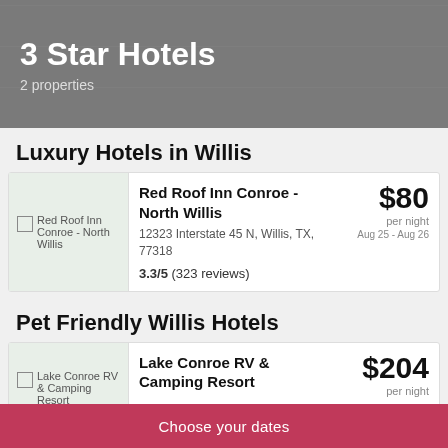3 Star Hotels
2 properties
Luxury Hotels in Willis
[Figure (photo): Red Roof Inn Conroe - North Willis hotel image placeholder]
Red Roof Inn Conroe - North Willis
12323 Interstate 45 N, Willis, TX, 77318
3.3/5 (323 reviews)
$80 per night
Aug 25 - Aug 26
Pet Friendly Willis Hotels
[Figure (photo): Lake Conroe RV & Camping Resort image placeholder]
Lake Conroe RV & Camping Resort
$204 per night
Choose your dates